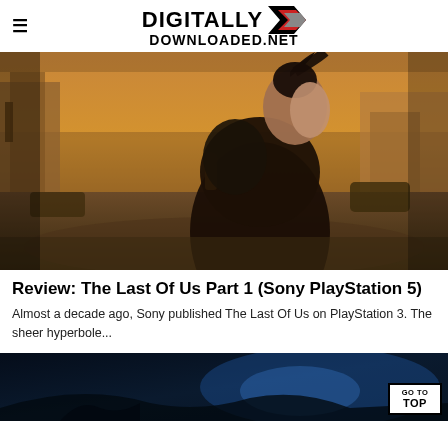DIGITALLY DOWNLOADED.net
[Figure (photo): Promotional art for The Last Of Us Part 1 — a young woman with dark hair in a ponytail stands back-to-back with a male figure in a post-apocalyptic ruined cityscape with warm orange/brown tones]
Review: The Last Of Us Part 1 (Sony PlayStation 5)
Almost a decade ago, Sony published The Last Of Us on PlayStation 3. The sheer hyperbole...
[Figure (photo): Dark blue-toned promotional image partially visible at bottom of page, with a 'GO TO TOP' button overlay in bottom right corner]